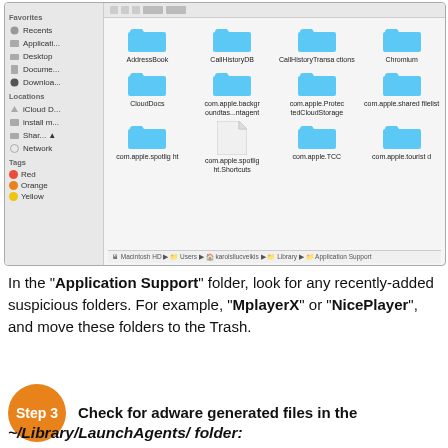[Figure (screenshot): macOS Finder window showing the Application Support folder contents with folders: AddressBook, CallHistoryDB, CallHistoryTransactions, Chromium, CloudDocs, com.apple.backgroundtask...ntagent, com.apple.ProtectedCloudStorage, com.apple.sharedfilelist, com.apple.spotlight, com.apple.spotlight.Shortcuts, com.apple.TCC, com.apple.touristd. Sidebar shows Favorites and Locations sections.]
In the "Application Support" folder, look for any recently-added suspicious folders. For example, "MplayerX" or "NicePlayer", and move these folders to the Trash.
Step 3  Check for adware generated files in the
~/Library/LaunchAgents/ folder: